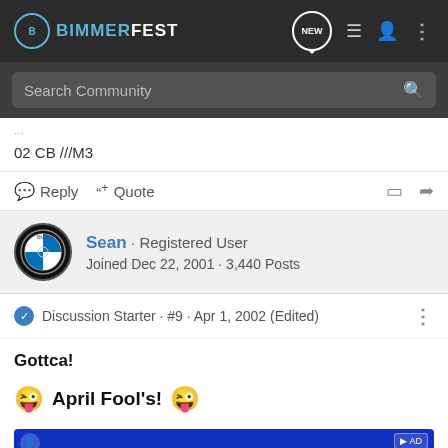BIMMERFEST
Search Community
02 CB ///M3
Reply  Quote
Sean · Registered User
Joined Dec 22, 2001 · 3,440 Posts
Discussion Starter · #9 · Apr 1, 2002 (Edited)
Gottca!
😜 April Fool's! 😜
[Figure (photo): Blue advertisement banner image at bottom of page]